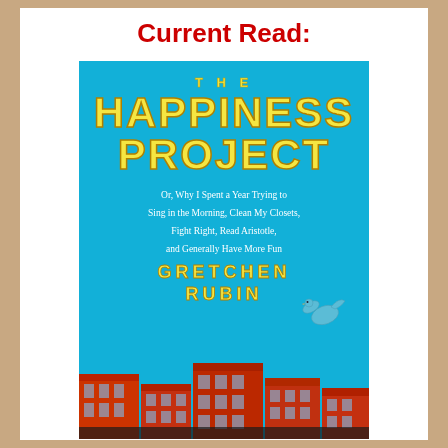Current Read:
[Figure (illustration): Book cover of 'The Happiness Project' by Gretchen Rubin. Blue background with large yellow bold title text, subtitle in white italic text reading 'Or, Why I Spent a Year Trying to Sing in the Morning, Clean My Closets, Fight Right, Read Aristotle, and Generally Have More Fun', a blue bird illustration, and red brick buildings at the bottom.]